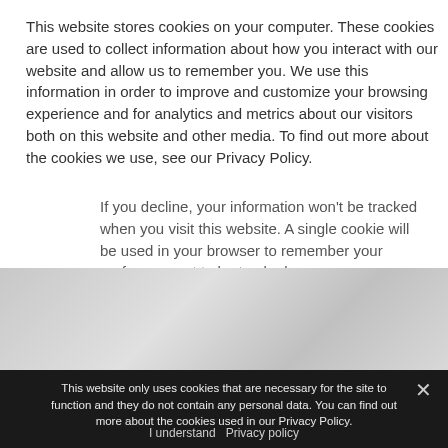This website stores cookies on your computer. These cookies are used to collect information about how you interact with our website and allow us to remember you. We use this information in order to improve and customize your browsing experience and for analytics and metrics about our visitors both on this website and other media. To find out more about the cookies we use, see our Privacy Policy.
If you decline, your information won't be tracked when you visit this website. A single cookie will be used in your browser to remember your preference not to be tracked.
[Figure (screenshot): Gray textured background section]
This website only uses cookies that are necessary for the site to function and they do not contain any personal data. You can find out more about the cookies used in our Privacy Policy.
I understand  Privacy policy